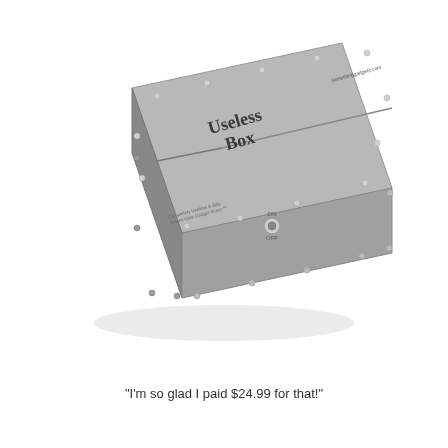[Figure (photo): A metal 'Useless Box' — a gray metallic box with riveted edges, tilted at an angle. The top face reads 'Useless Box' in dark lettering. The front face has a toggle switch labeled ON/OFF and small text reading 'Completely Useless & Silly, Unless Utter Gadget Scam' along with a URL. The box has a brushed metal finish with corner brackets.]
“I’m so glad I paid $24.99 for that!”